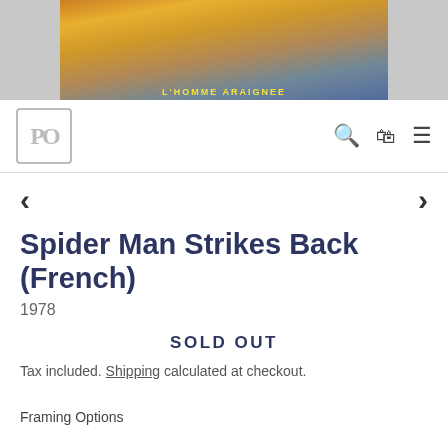[Figure (photo): Top portion of a French Spider-Man movie poster showing 'L'HOMME ARAIGNEE' text on a colorful comic-style background]
PO [logo] | search icon | cart icon | menu icon
< >
Spider Man Strikes Back (French)
1978
SOLD OUT
Tax included. Shipping calculated at checkout.
Framing Options